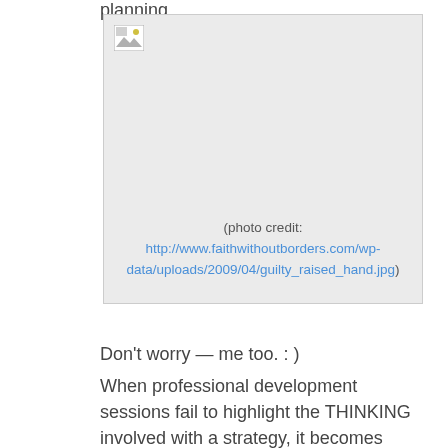planning.
[Figure (photo): Broken/missing image placeholder with a photo credit link to faithwithoutborders.com showing a guilty raised hand image.]
(photo credit: http://www.faithwithoutborders.com/wp-data/uploads/2009/04/guilty_raised_hand.jpg)
Don't worry — me too. : )
When professional development sessions fail to highlight the THINKING involved with a strategy, it becomes harder for educators to plan for it. So, we need to approach new strategies by asking ourselves